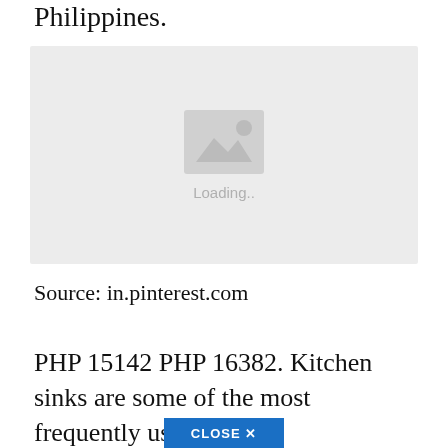Philippines.
[Figure (photo): Image placeholder showing a loading state with a mountain/image icon and 'Loading..' text on a light gray background]
Source: in.pinterest.com
PHP 15142 PHP 16382. Kitchen sinks are some of the most frequently used fixtures